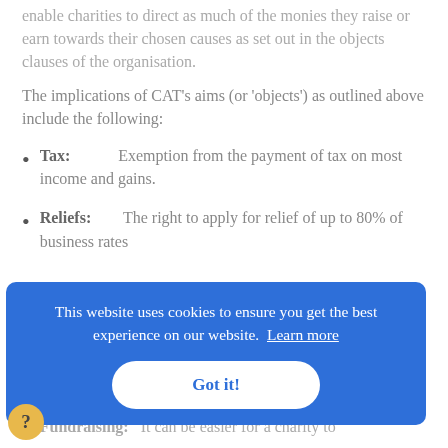enable charities to direct as much of the monies they raise or earn towards their chosen causes as set out in the objects clauses of the organisation.
The implications of CAT's aims (or 'objects') as outlined above include the following:
Tax: Exemption from the payment of tax on most income and gains.
Reliefs: The right to apply for relief of up to 80% of business rates
[Figure (screenshot): Cookie consent banner overlay with blue background reading 'This website uses cookies to ensure you get the best experience on our website. Learn more' with a white 'Got it!' button]
Fundraising: It can be easier for a charity to